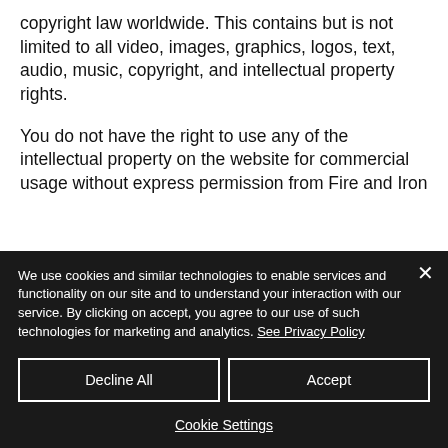copyright law worldwide. This contains but is not limited to all video, images, graphics, logos, text, audio, music, copyright, and intellectual property rights.
You do not have the right to use any of the intellectual property on the website for commercial usage without express permission from Fire and Iron
We use cookies and similar technologies to enable services and functionality on our site and to understand your interaction with our service. By clicking on accept, you agree to our use of such technologies for marketing and analytics. See Privacy Policy